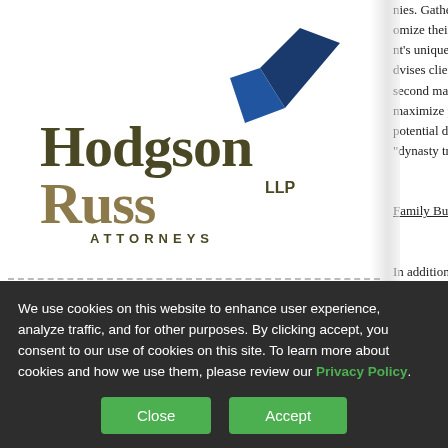[Figure (logo): Hodgson Russ LLP Attorneys logo — dark olive/brown serif 'Hodgson' and 'Russ' text with a blue geometric arrow/triangle mark above]
WHY US
PROFESSIONALS ▶
nies. Gather... omize their w... nt's unique fa... vises clients o... second marriages... maximize protecti... potential divorce,... "dynasty trusts" fo...
Family Business S...
In addition, havin... is now in its third...
We use cookies on this website to enhance user experience, analyze traffic, and for other purposes. By clicking accept, you consent to our use of cookies on this site. To learn more about cookies and how we use them, please review our Privacy Policy.